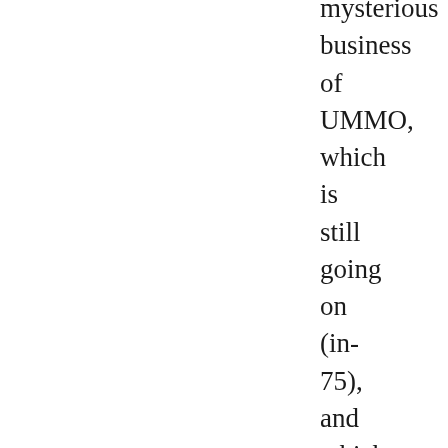mysterious business of UMMO, which is still going on (in-75), and which I am still very far from having "got to